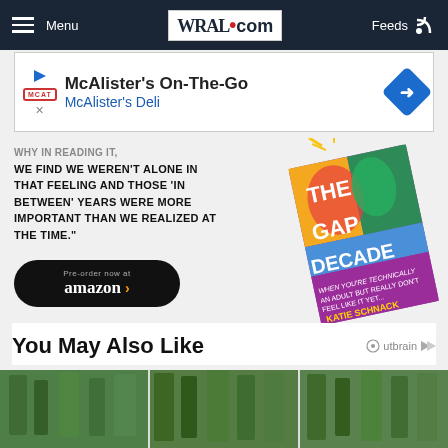WRAL.com — Menu | Feeds
[Figure (screenshot): McAlister's On-The-Go advertisement banner for McAlister's Deli]
WE FIND WE WEREN'T ALONE IN THAT FEELING AND THOSE 'IN BETWEEN' YEARS WERE MORE IMPORTANT THAN WE REALIZED AT THE TIME."
–LAUREN CASPER, AUTHOR OF 'LOVING WELL IN A BROKEN WORLD'
[Figure (photo): Book cover: The Gap Decade by Katie Schnack — When You're Technically An Adult But Really Don't Feel Like It Yet]
Pre-order now at amazon
You May Also Like
[Figure (photo): Outbrain sponsored content thumbnail images showing trees/forest scenes]